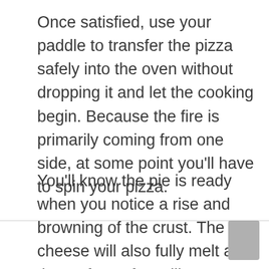Once satisfied, use your paddle to transfer the pizza safely into the oven without dropping it and let the cooking begin. Because the fire is primarily coming from one side, at some point you'll have to spin your pizza.
You'll know the pie is ready when you notice a rise and browning of the crust. The cheese will also fully melt at the surface. If you like a slightly charred bottom, have it cook until the crust starts to turn darker.